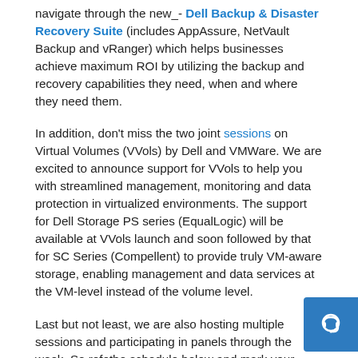navigate through the new_- Dell Backup & Disaster Recovery Suite (includes AppAssure, NetVault Backup and vRanger) which helps businesses achieve maximum ROI by utilizing the backup and recovery capabilities they need, when and where they need them.
In addition, don't miss the two joint sessions on Virtual Volumes (VVols) by Dell and VMWare. We are excited to announce support for VVols to help you with streamlined management, monitoring and data protection in virtualized environments. The support for Dell Storage PS series (EqualLogic) will be available at VVols launch and soon followed by that for SC Series (Compellent) to provide truly VM-aware storage, enabling management and data services at the VM-level instead of the volume level.
Last but not least, we are also hosting multiple sessions and participating in panels through the week. So refer the schedule below and mark your calendars now to